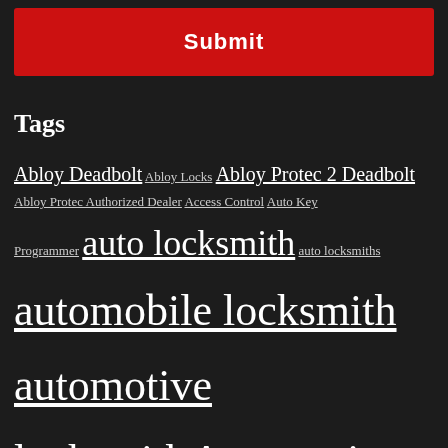Submit
Tags
Abloy Deadbolt Abloy Locks Abloy Protec 2 Deadbolt Abloy Protec Authorized Dealer Access Control Auto Key Programmer auto locksmith auto locksmiths automobile locksmith automotive locksmith Automotive Locksmiths BC Licensed locksmith Become a Locksmith Blog chip key Damaged automotive locks Deadbolts Frozen Car locks Frozen Lock hands-on locksmith training How to Become a Locksmith LAB PIN KIT Locksmith School Locksmith Training Locksmith